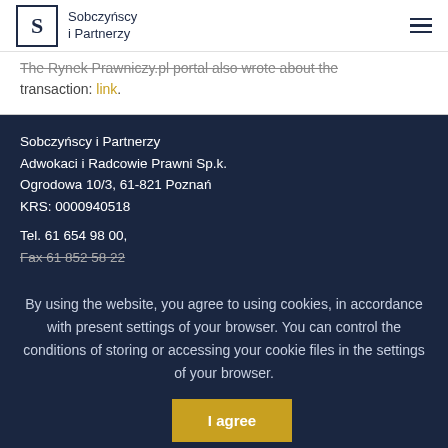Sobczyńscy i Partnerzy
The Rynek Prawniczy.pl portal also wrote about the transaction: link.
Sobczyńscy i Partnerzy
Adwokaci i Radcowie Prawni Sp.k.
Ogrodowa 10/3, 61-821 Poznań
KRS: 0000940518

Tel. 61 654 98 00,
Fax 61 852 58 22
By using the website, you agree to using cookies, in accordance with present settings of your browser. You can control the conditions of storing or accessing your cookie files in the settings of your browser.